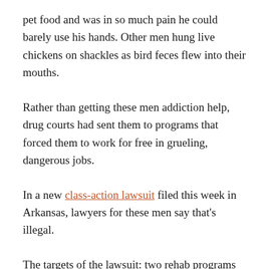pet food and was in so much pain he could barely use his hands. Other men hung live chickens on shackles as bird feces flew into their mouths.
Rather than getting these men addiction help, drug courts had sent them to programs that forced them to work for free in grueling, dangerous jobs.
In a new class-action lawsuit filed this week in Arkansas, lawyers for these men say that's illegal.
The targets of the lawsuit: two rehab programs that operate along the Arkansas-Oklahoma border – Christian Alcoholics and Addicts in Recovery, and Drug and Alcohol Recovery Program. The programs